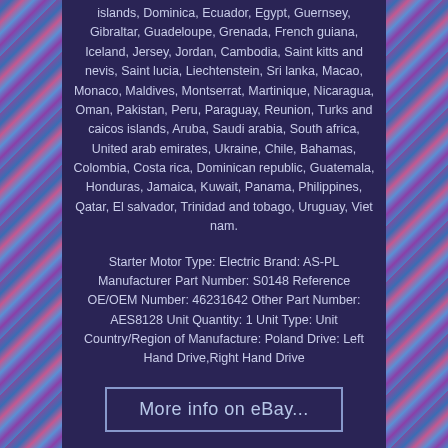islands, Dominica, Ecuador, Egypt, Guernsey, Gibraltar, Guadeloupe, Grenada, French guiana, Iceland, Jersey, Jordan, Cambodia, Saint kitts and nevis, Saint lucia, Liechtenstein, Sri lanka, Macao, Monaco, Maldives, Montserrat, Martinique, Nicaragua, Oman, Pakistan, Peru, Paraguay, Reunion, Turks and caicos islands, Aruba, Saudi arabia, South africa, United arab emirates, Ukraine, Chile, Bahamas, Colombia, Costa rica, Dominican republic, Guatemala, Honduras, Jamaica, Kuwait, Panama, Philippines, Qatar, El salvador, Trinidad and tobago, Uruguay, Viet nam.
Starter Motor Type: Electric Brand: AS-PL Manufacturer Part Number: S0148 Reference OE/OEM Number: 46231642 Other Part Number: AES8128 Unit Quantity: 1 Unit Type: Unit Country/Region of Manufacture: Poland Drive: Left Hand Drive,Right Hand Drive
More info on eBay...